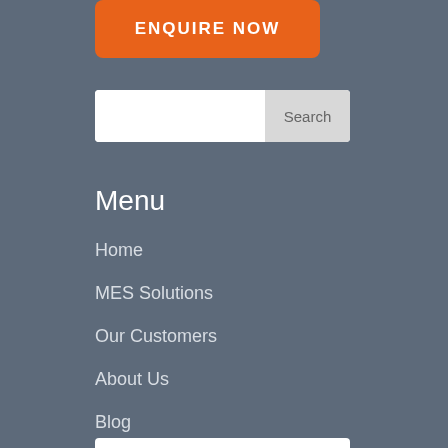[Figure (other): Orange rounded button with text ENQUIRE NOW in white uppercase letters]
[Figure (other): Search bar with white input field and grey Search button]
Menu
Home
MES Solutions
Our Customers
About Us
Blog
Contact Us